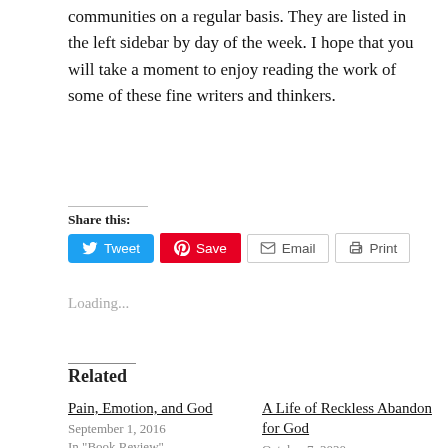communities on a regular basis. They are listed in the left sidebar by day of the week. I hope that you will take a moment to enjoy reading the work of some of these fine writers and thinkers.
Share this:
[Figure (screenshot): Social sharing buttons: Tweet (Twitter, blue), Save (Pinterest, red), Email (grey outline), Print (grey outline)]
Loading...
Related
Pain, Emotion, and God
September 1, 2016
In "Book Review"
A Life of Reckless Abandon for God
October 7, 2020